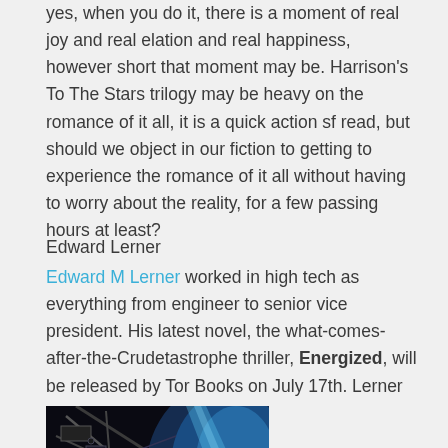yes, when you do it, there is a moment of real joy and real elation and real happiness, however short that moment may be. Harrison's To The Stars trilogy may be heavy on the romance of it all, it is a quick action sf read, but should we object in our fiction to getting to experience the romance of it all without having to worry about the reality, for a few passing hours at least?
Edward Lerner
Edward M Lerner worked in high tech as everything from engineer to senior vice president. His latest novel, the what-comes-after-the-Crudetastrophe thriller, Energized, will be released by Tor Books on July 17th. Lerner blogs at SF and Nonsense.
[Figure (photo): A dark image showing mechanical/space station components with a blue-lit Earth or planet visible in the background]